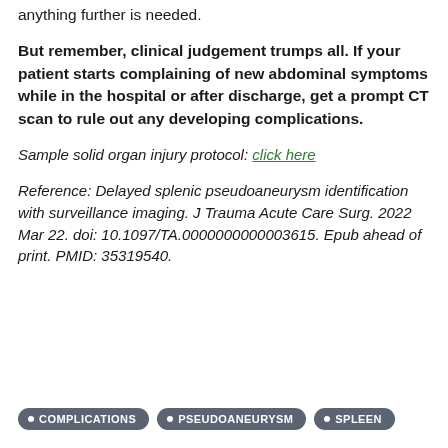anything further is needed.
But remember, clinical judgement trumps all. If your patient starts complaining of new abdominal symptoms while in the hospital or after discharge, get a prompt CT scan to rule out any developing complications.
Sample solid organ injury protocol: click here
Reference: Delayed splenic pseudoaneurysm identification with surveillance imaging. J Trauma Acute Care Surg. 2022 Mar 22. doi: 10.1097/TA.0000000000003615. Epub ahead of print. PMID: 35319540.
COMPLICATIONS
PSEUDOANEURYSM
SPLEEN